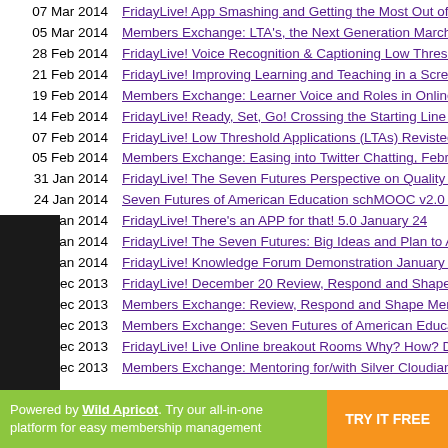07 Mar 2014 — FridayLive! App Smashing and Getting the Most Out of Yo...
05 Mar 2014 — Members Exchange: LTA's, the Next Generation March 5...
28 Feb 2014 — FridayLive! Voice Recognition & Captioning Low Thresho...
21 Feb 2014 — FridayLive! Improving Learning and Teaching in a Screen...
19 Feb 2014 — Members Exchange: Learner Voice and Roles in Online T...
14 Feb 2014 — FridayLive! Ready, Set, Go! Crossing the Starting Line to...
07 Feb 2014 — FridayLive! Low Threshold Applications (LTAs) Revisted R...
05 Feb 2014 — Members Exchange: Easing into Twitter Chatting, Februa...
31 Jan 2014 — FridayLive! The Seven Futures Perspective on Quality Im...
24 Jan 2014 — Seven Futures of American Education schMOOC v2.0 (#...
24 Jan 2014 — FridayLive! There's an APP for that! 5.0 January 24
17 Jan 2014 — FridayLive! The Seven Futures: Big Ideas and Plan to Ac...
10 Jan 2014 — FridayLive! Knowledge Forum Demonstration January 10...
20 Dec 2013 — FridayLive! December 20 Review, Respond and Shape F...
18 Dec 2013 — Members Exchange: Review, Respond and Shape Memb...
17 Dec 2013 — Members Exchange: Seven Futures of American Educati...
13 Dec 2013 — FridayLive! Live Online breakout Rooms Why? How? Dec...
11 Dec 2013 — Members Exchange: Mentoring for/with Silver Cloudians,...
Powered by Wild Apricot. Try our all-in-one platform for easy membership management   TRY IT FREE